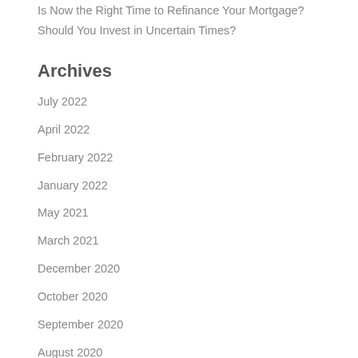Is Now the Right Time to Refinance Your Mortgage?
Should You Invest in Uncertain Times?
Archives
July 2022
April 2022
February 2022
January 2022
May 2021
March 2021
December 2020
October 2020
September 2020
August 2020
July 2020